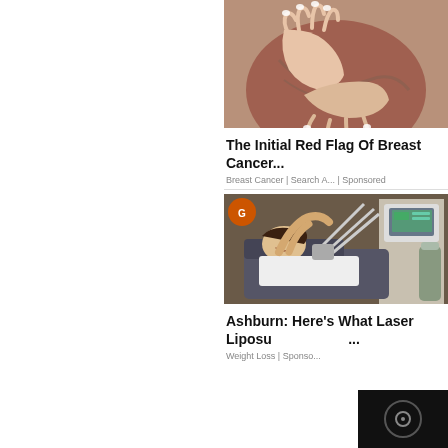[Figure (photo): Close-up photo of hands with manicured white nails resting on a torso, suggesting breast self-examination]
The Initial Red Flag Of Breast Cancer...
Breast Cancer | Search A... | Sponsored
[Figure (photo): Woman smiling while reclining in a treatment chair with laser liposuction equipment visible in background]
Ashburn: Here's What Laser Liposu...
Weight Loss | Sponso...